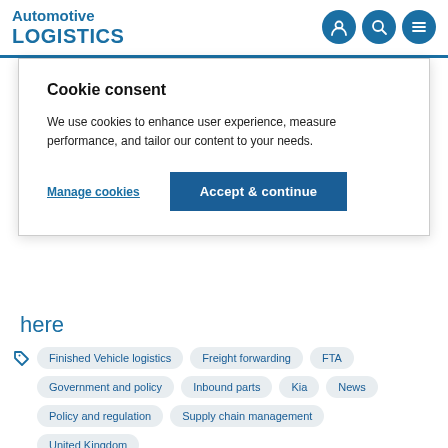Automotive LOGISTICS
Cookie consent
We use cookies to enhance user experience, measure performance, and tailor our content to your needs.
Manage cookies | Accept & continue
here
Finished Vehicle logistics
Freight forwarding
FTA
Government and policy
Inbound parts
Kia
News
Policy and regulation
Supply chain management
United Kingdom